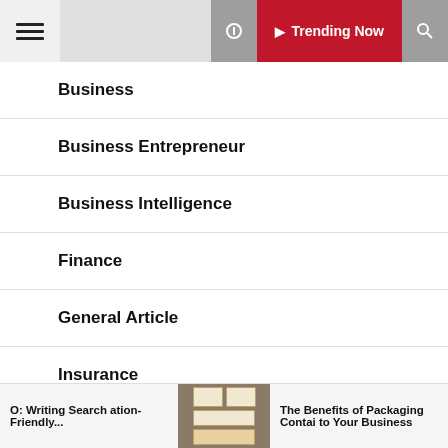Trending Now
Business
Business Entrepreneur
Business Intelligence
Finance
General Article
Insurance
August 2022
O: Writing Search ation-Friendly...
[Figure (photo): Stacked product packages/boxes on a surface]
The Benefits of Packaging Contai to Your Business